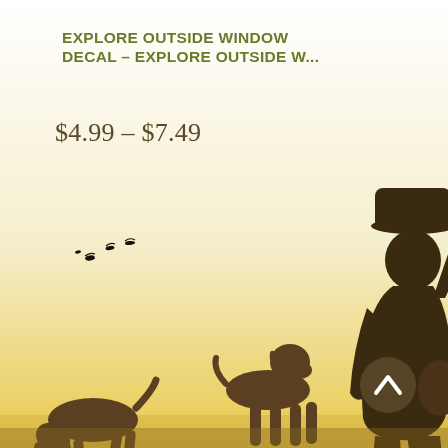EXPLORE OUTSIDE WINDOW DECAL – EXPLORE OUTSIDE W...
$4.99 – $7.49
[Figure (illustration): Silhouette illustration of a hunter with a rifle and hat walking with two hunting dogs and birds flying overhead, on a warm gradient background (white to golden yellow at the bottom). A scroll-up arrow button is visible at the bottom right.]